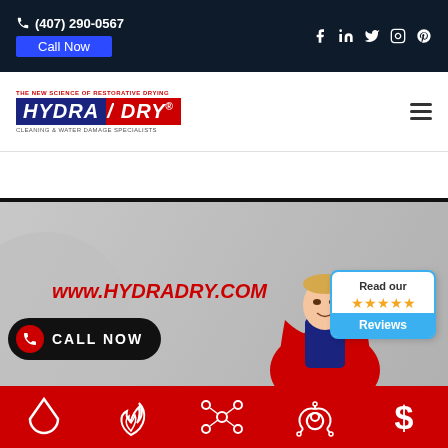(407) 290-0567 | Call Now | Social icons: Facebook, LinkedIn, Twitter, Instagram, Pinterest
[Figure (logo): Hydra Dry logo with taglines: THE NEW SCIENCE OF RESTORATIVE DRYING / HYDRA DRY / CLEANING & WATER DAMAGE SPECIALISTS]
[Figure (screenshot): HydraDry website hero section showing www.HydraDry.com URL in red, a CALL NOW button, a superhero character in red cape, and a Reviews badge with 5 stars]
[Figure (infographic): Red bottom bar with 5 white icons: water drop, fire/flame, molecule/network, biohazard, dollar sign]